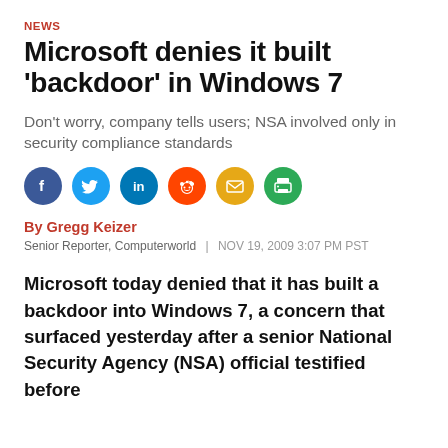NEWS
Microsoft denies it built 'backdoor' in Windows 7
Don't worry, company tells users; NSA involved only in security compliance standards
[Figure (other): Social sharing icons: Facebook, Twitter, LinkedIn, Reddit, Email, Print]
By Gregg Keizer
Senior Reporter, Computerworld | NOV 19, 2009 3:07 PM PST
Microsoft today denied that it has built a backdoor into Windows 7, a concern that surfaced yesterday after a senior National Security Agency (NSA) official testified before